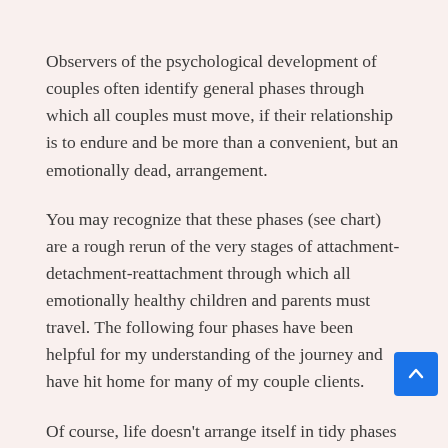Observers of the psychological development of couples often identify general phases through which all couples must move, if their relationship is to endure and be more than a convenient, but an emotionally dead, arrangement.
You may recognize that these phases (see chart) are a rough rerun of the very stages of attachment-detachment-reattachment through which all emotionally healthy children and parents must travel. The following four phases have been helpful for my understanding of the journey and have hit home for many of my couple clients.
Of course, life doesn't arrange itself in tidy phases like these. But most couples can identify something resembling these life chapters, especially when they look back. Also, these are only rough estimates of the times of the most intense work on these tasks. Actually, the work of each phase is occurring in sporadic